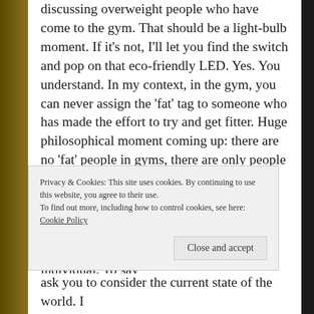discussing overweight people who have come to the gym. That should be a light-bulb moment. If it's not, I'll let you find the switch and pop on that eco-friendly LED. Yes. You understand. In my context, in the gym, you can never assign the 'fat' tag to someone who has made the effort to try and get fitter. Huge philosophical moment coming up: there are no 'fat' people in gyms, there are only people trying to better themselves. And posers. They're the real muppets.
So, when is 'fat' a bad word? A simple answer. It's when you use it to describe an individual. To say
Privacy & Cookies: This site uses cookies. By continuing to use this website, you agree to their use.
To find out more, including how to control cookies, see here: Cookie Policy
ask you to consider the current state of the world. I